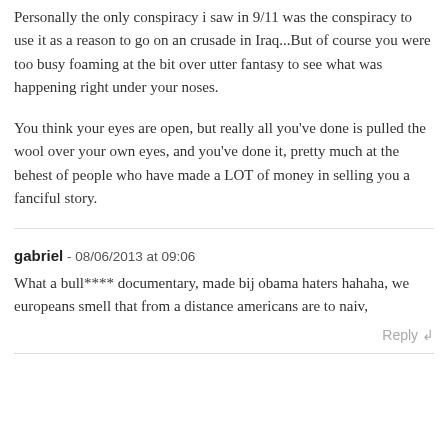Personally the only conspiracy i saw in 9/11 was the conspiracy to use it as a reason to go on an crusade in Iraq...But of course you were too busy foaming at the bit over utter fantasy to see what was happening right under your noses.
You think your eyes are open, but really all you've done is pulled the wool over your own eyes, and you've done it, pretty much at the behest of people who have made a LOT of money in selling you a fanciful story.
gabriel - 08/06/2013 at 09:06
What a bull**** documentary, made bij obama haters hahaha, we europeans smell that from a distance americans are to naiv,
Reply ↲